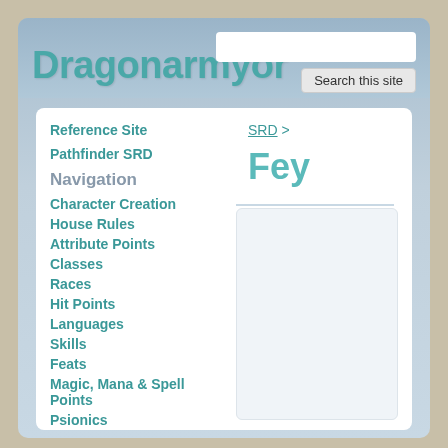Dragonarmyor
Reference Site
Pathfinder SRD
Navigation
Character Creation
House Rules
Attribute Points
Classes
Races
Hit Points
Languages
Skills
Feats
Magic, Mana & Spell Points
Psionics
Equipment
SRD >
Fey